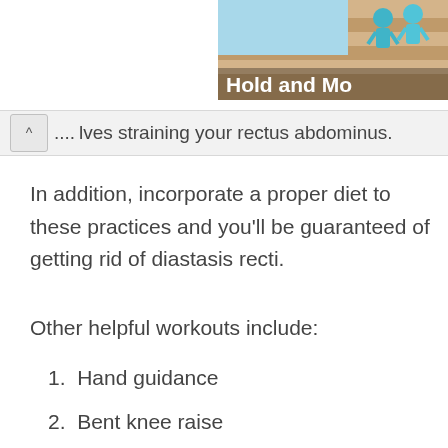[Figure (illustration): Top-right banner with illustrated figures and text 'Hold and Mo...' on a sandy/blue background]
.... lves straining your rectus abdominus.
In addition, incorporate a proper diet to these practices and you'll be guaranteed of getting rid of diastasis recti.
Other helpful workouts include:
1. Hand guidance
2. Bent knee raise